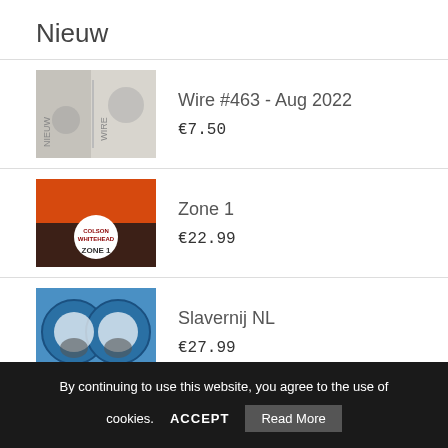Nieuw
Wire #463 - Aug 2022
€7.50
Zone 1
€22.99
Slavernij NL
€27.99
We have tired of violence
€33.99
By continuing to use this website, you agree to the use of cookies.  ACCEPT  Read More